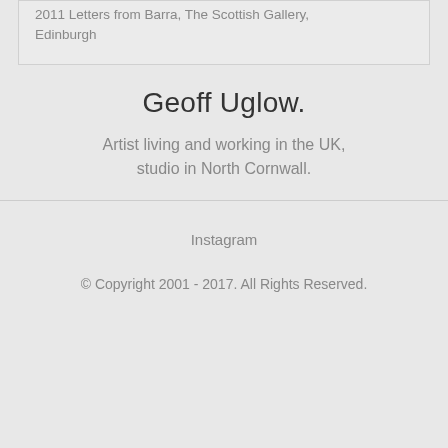2011 Letters from Barra, The Scottish Gallery, Edinburgh
Geoff Uglow.
Artist living and working in the UK, studio in North Cornwall.
Instagram
© Copyright 2001 - 2017. All Rights Reserved.